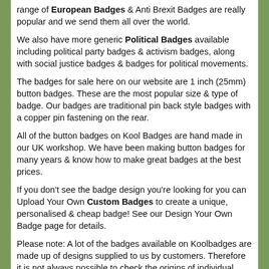range of European Badges & Anti Brexit Badges are really popular and we send them all over the world.
We also have more generic Political Badges available including political party badges & activism badges, along with social justice badges & badges for political movements.
The badges for sale here on our website are 1 inch (25mm) button badges. These are the most popular size & type of badge. Our badges are traditional pin back style badges with a copper pin fastening on the rear.
All of the button badges on Kool Badges are hand made in our UK workshop. We have been making button badges for many years & know how to make great badges at the best prices.
If you don't see the badge design you're looking for you can Upload Your Own Custom Badges to create a unique, personalised & cheap badge! See our Design Your Own Badge page for details.
Please note: A lot of the badges available on Koolbadges are made up of designs supplied to us by customers. Therefore it is not always possible to check the origins of individual designs. If you feel any badge infringes copyright please email us and we will remove any offending badges within 24 hours. We strive to ensure that all designs do not infringe copyright, and will do our utmost to rectify any instances of infringement.